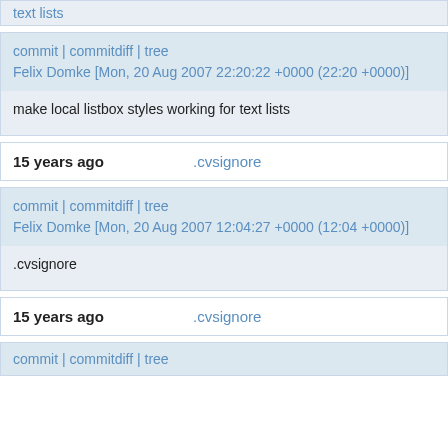text lists
commit | commitdiff | tree
Felix Domke [Mon, 20 Aug 2007 22:20:22 +0000 (22:20 +0000)]
make local listbox styles working for text lists
15 years ago   .cvsignore
commit | commitdiff | tree
Felix Domke [Mon, 20 Aug 2007 12:04:27 +0000 (12:04 +0000)]
.cvsignore
15 years ago   .cvsignore
commit | commitdiff | tree